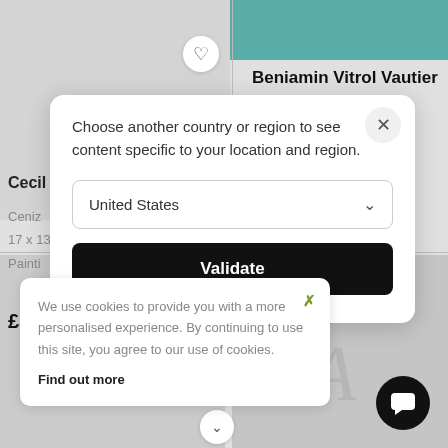[Figure (screenshot): Background showing artwork listing page with image placeholder on left, artist name 'Beniamin Vitrol Vautier ...' on right, partial text 'Cecil', 'Ceniz', '17 x 13', 'Painti', '£520' on left side]
Beniamin Vitrol Vautier ...
Choose another country or region to see content specific to your location and region.
United States
Validate
We use cookies to provide you with a more personalised experience. By continuing to use this site, you agree to our use of cookies.
Find out more